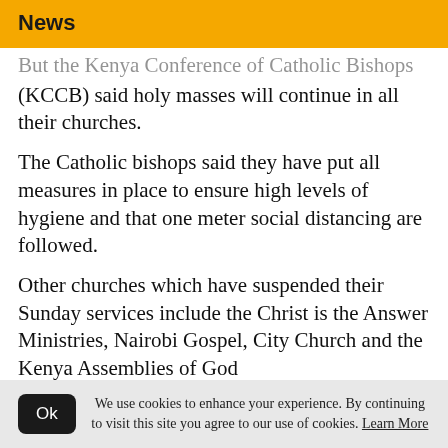News
But the Kenya Conference of Catholic Bishops (KCCB) said holy masses will continue in all their churches.
The Catholic bishops said they have put all measures in place to ensure high levels of hygiene and that one meter social distancing are followed.
Other churches which have suspended their Sunday services include the Christ is the Answer Ministries, Nairobi Gospel, City Church and the Kenya Assemblies of God
We use cookies to enhance your experience. By continuing to visit this site you agree to our use of cookies. Learn More